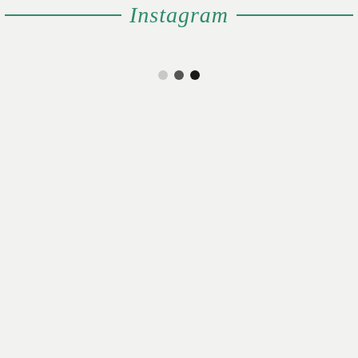Instagram
[Figure (other): Three dots indicating a loading or pagination state: light gray dot, dark gray dot, black dot]